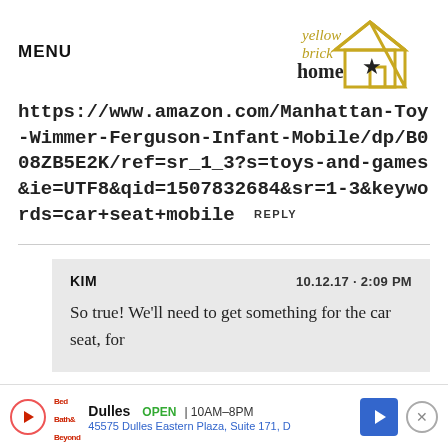MENU | yellow brick home logo
https://www.amazon.com/Manhattan-Toy-Wimmer-Ferguson-Infant-Mobile/dp/B008ZB5E2K/ref=sr_1_3?s=toys-and-games&ie=UTF8&qid=1507832684&sr=1-3&keywords=car+seat+mobile  REPLY
KIM  10.12.17 · 2:09 PM
So true! We'll need to get something for the car seat, for
Dulles  OPEN  10AM–8PM
45575 Dulles Eastern Plaza, Suite 171, D